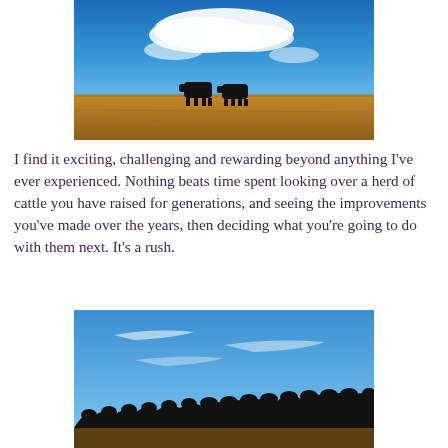[Figure (photo): Two black cattle silhouetted in a golden prairie field under a blue sky with white clouds]
I find it exciting, challenging and rewarding beyond anything I've ever experienced. Nothing beats time spent looking over a herd of cattle you have raised for generations, and seeing the improvements you've made over the years, then deciding what you're going to do with them next. It's a rush.
[Figure (photo): A herd of black cattle silhouetted against a wide open blue sky with light wispy clouds, standing on flat prairie land]